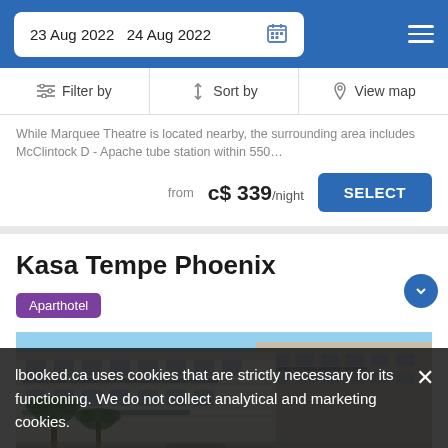23 Aug 2022  24 Aug 2022
Filter by  Sort by  View map
While Marquee Theatre is located nearby, the surrounding area includes McClintock D - Apache tube station within 550…
from  c$ 339/night  SELECT
Kasa Tempe Phoenix
Aparthotel
[Figure (photo): Exterior photo of Kasa Tempe Phoenix aparthotel showing modern white multi-story building with balconies and palm trees under blue sky]
lbooked.ca uses cookies that are strictly necessary for its functioning. We do not collect analytical and marketing cookies.